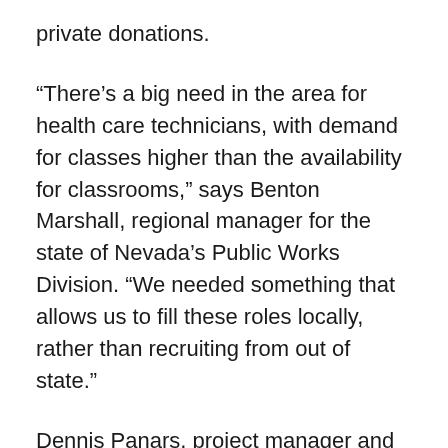private donations.
“There’s a big need in the area for health care technicians, with demand for classes higher than the availability for classrooms,” says Benton Marshall, regional manager for the state of Nevada’s Public Works Division. “We needed something that allows us to fill these roles locally, rather than recruiting from out of state.”
Dennis Panars, project manager and principal for KNIT Studios, the project architect, adds that the building aims to create a much needed sense of community for the commuter school both through its layout and close proximity to the CSN student union.
As work got underway in November 2019, “the biggest